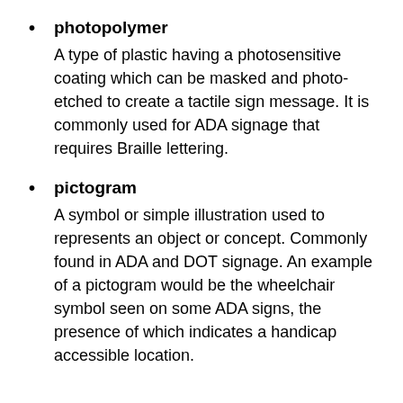photopolymer — A type of plastic having a photosensitive coating which can be masked and photo-etched to create a tactile sign message. It is commonly used for ADA signage that requires Braille lettering.
pictogram — A symbol or simple illustration used to represents an object or concept. Commonly found in ADA and DOT signage. An example of a pictogram would be the wheelchair symbol seen on some ADA signs, the presence of which indicates a handicap accessible location.